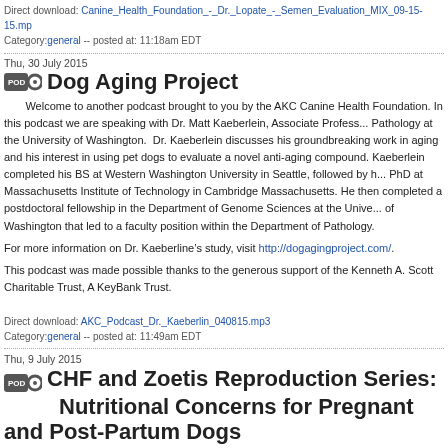Direct download: Canine_Health_Foundation_-_Dr._Lopate_-_Semen_Evaluation_MIX_09-15-15.mp ...
Category: general -- posted at: 11:18am EDT
Thu, 30 July 2015
Dog Aging Project
Welcome to another podcast brought to you by the AKC Canine Health Foundation. In this podcast we are speaking with Dr. Matt Kaeberlein, Associate Profess... Pathology at the University of Washington. Dr. Kaeberlein discusses his groundbreaking work in aging and his interest in using pet dogs to evaluate a novel anti-aging compound. Kaeberlein completed his BS at Western Washington University in Seattle, followed by his PhD at Massachusetts Institute of Technology in Cambridge Massachusetts. He then completed a postdoctoral fellowship in the Department of Genome Sciences at the Unive... of Washington that led to a faculty position within the Department of Pathology.
For more information on Dr. Kaeberline’s study, visit http://dogagingproject.com/.
This podcast was made possible thanks to the generous support of the Kenneth A. Scott Charitable Trust, A KeyBank Trust.
Direct download: AKC_Podcast_Dr._Kaeberlin_040815.mp3
Category: general -- posted at: 11:49am EDT
Thu, 9 July 2015
CHF and Zoetis Reproduction Series: Nutritional Concerns for Pregnant and Post-Partum Dogs
The AKC Canine Health Foundation (CHF) and our corporate alliance, Zoetis, are pleased to bring you another installment in a podcast series devoted to canine